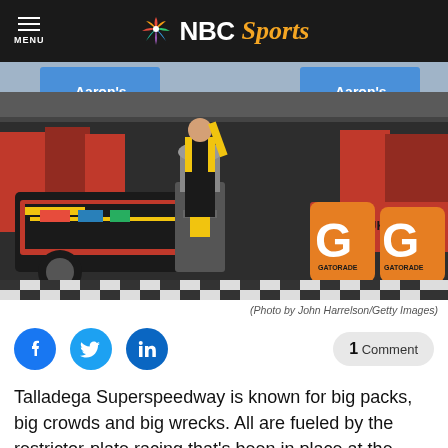NBC Sports
[Figure (photo): NASCAR victory lane celebration at Talladega Superspeedway. A driver in a black and yellow racing suit holds up a trophy on a podium while the team celebrates behind him. Two orange Gatorade coolers are visible on the right. A black NASCAR Sprint Cup car with sponsor logos is on the left. Aaron's signage visible in the background.]
(Photo by John Harrelson/Getty Images)
Talladega Superspeedway is known for big packs, big crowds and big wrecks. All are fueled by the restrictor-plate racing that's been in place at the 2.66-mile track since 1997.